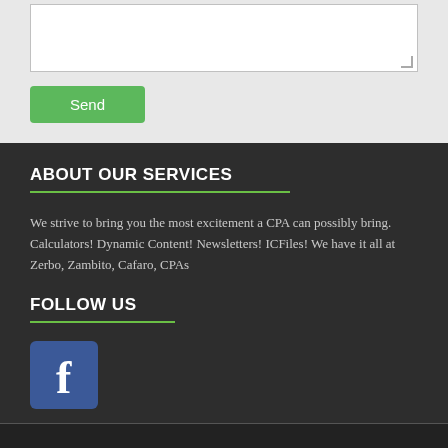[Figure (screenshot): Text area input box (white rectangle with resize handle) on grey background]
[Figure (screenshot): Green 'Send' button on grey background]
ABOUT OUR SERVICES
We strive to bring you the most excitement a CPA can possibly bring. Calculators! Dynamic Content! Newsletters! ICFiles! We have it all at Zerbo, Zambito, Cafaro, CPAs
FOLLOW US
[Figure (logo): Facebook icon — white 'f' on blue square rounded rectangle]
[Figure (infographic): Social sharing bar with 5 buttons: Facebook (dark blue), Twitter (light blue), LinkedIn (medium blue), SMS (gold/orange), Share (green)]